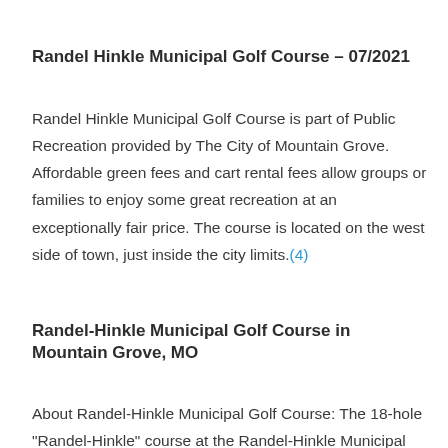Randel Hinkle Municipal Golf Course – 07/2021
Randel Hinkle Municipal Golf Course is part of Public Recreation provided by The City of Mountain Grove. Affordable green fees and cart rental fees allow groups or families to enjoy some great recreation at an exceptionally fair price. The course is located on the west side of town, just inside the city limits.(4)
Randel-Hinkle Municipal Golf Course in Mountain Grove, MO
About Randel-Hinkle Municipal Golf Course: The 18-hole "Randel-Hinkle" course at the Randel-Hinkle Municipal